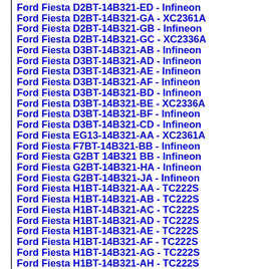Ford Fiesta D2BT-14B321-ED - Infineon
Ford Fiesta D2BT-14B321-GA - XC2361A
Ford Fiesta D2BT-14B321-GB - Infineon
Ford Fiesta D2BT-14B321-GC - XC2336A
Ford Fiesta D3BT-14B321-AB - Infineon
Ford Fiesta D3BT-14B321-AD - Infineon
Ford Fiesta D3BT-14B321-AE - Infineon
Ford Fiesta D3BT-14B321-AF - Infineon
Ford Fiesta D3BT-14B321-BD - Infineon
Ford Fiesta D3BT-14B321-BE - XC2336A
Ford Fiesta D3BT-14B321-BF - Infineon
Ford Fiesta D3BT-14B321-CD - Infineon
Ford Fiesta EG13-14B321-AA - XC2361A
Ford Fiesta F7BT-14B321-BB - Infineon
Ford Fiesta G2BT 14B321 BB - Infineon
Ford Fiesta G2BT-14B321-HA - Infineon
Ford Fiesta G2BT-14B321-JA - Infineon
Ford Fiesta H1BT-14B321-AA - TC222S
Ford Fiesta H1BT-14B321-AB - TC222S
Ford Fiesta H1BT-14B321-AC - TC222S
Ford Fiesta H1BT-14B321-AD - TC222S
Ford Fiesta H1BT-14B321-AE - TC222S
Ford Fiesta H1BT-14B321-AF - TC222S
Ford Fiesta H1BT-14B321-AG - TC222S
Ford Fiesta H1BT-14B321-AH - TC222S